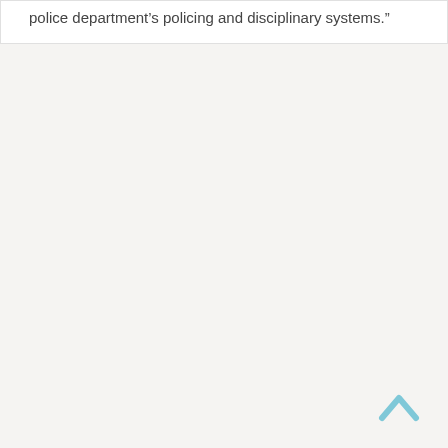police department’s policing and disciplinary systems.”
[Figure (other): Back-to-top chevron arrow icon in light blue color at the bottom right of the page]